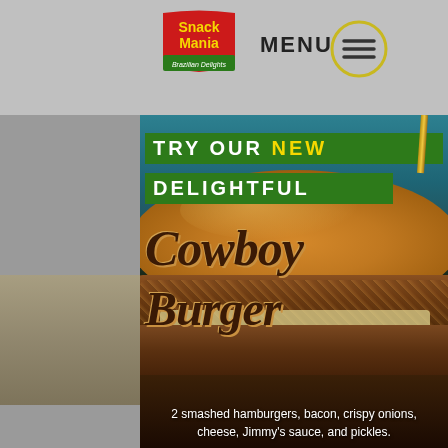[Figure (logo): Snack Mania Brazilian Delights logo - red shield with yellow text]
MENU
[Figure (photo): Close-up photo of a Cowboy Burger with crispy fried patties, cheese, and a golden bun on a teal and dark background]
TRY OUR NEW DELIGHTFUL
Cowboy Burger
2 smashed hamburgers, bacon, crispy onions, cheese, Jimmy's sauce, and pickles.